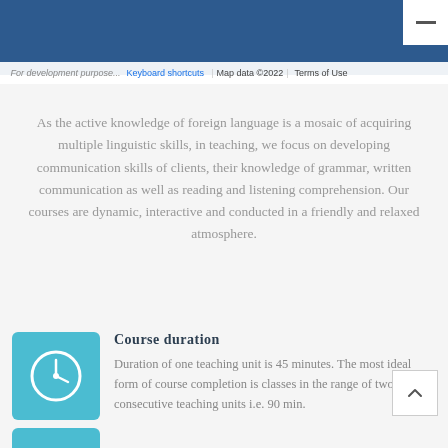[Figure (screenshot): Google Maps screenshot with dark blue background, Google logo, map data bar with 'For development purposes only', 'Keyboard shortcuts', 'Map data ©2022', 'Terms of Use']
As the active knowledge of foreign language is a mosaic of acquiring multiple linguistic skills, in teaching, we focus on developing communication skills of clients, their knowledge of grammar, written communication as well as reading and listening comprehension. Our courses are dynamic, interactive and conducted in a friendly and relaxed atmosphere.
Course duration
Duration of one teaching unit is 45 minutes. The most ideal form of course completion is classes in the range of two consecutive teaching units i.e. 90 min.